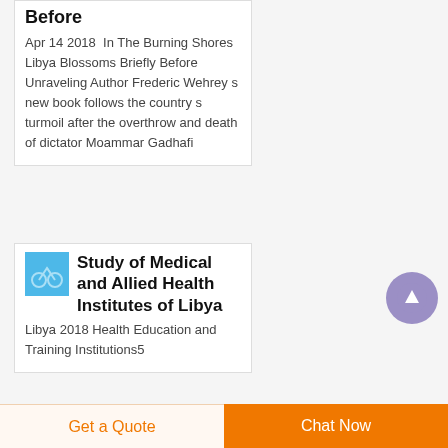Before
Apr 14 2018  In The Burning Shores Libya Blossoms Briefly Before Unraveling Author Frederic Wehrey s new book follows the country s turmoil after the overthrow and death of dictator Moammar Gadhafi
Study of Medical and Allied Health Institutes of Libya
Libya 2018 Health Education and Training Institutions5
Get a Quote
Chat Now